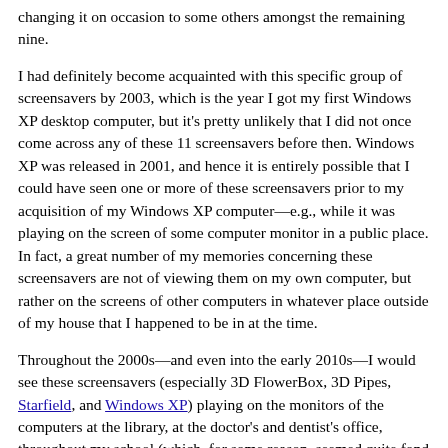changing it on occasion to some others amongst the remaining nine.
I had definitely become acquainted with this specific group of screensavers by 2003, which is the year I got my first Windows XP desktop computer, but it's pretty unlikely that I did not once come across any of these 11 screensavers before then. Windows XP was released in 2001, and hence it is entirely possible that I could have seen one or more of these screensavers prior to my acquisition of my Windows XP computer—e.g., while it was playing on the screen of some computer monitor in a public place. In fact, a great number of my memories concerning these screensavers are not of viewing them on my own computer, but rather on the screens of other computers in whatever place outside of my house that I happened to be in at the time.
Throughout the 2000s—and even into the early 2010s—I would see these screensavers (especially 3D FlowerBox, 3D Pipes, Starfield, and Windows XP) playing on the monitors of the computers at the library, at the doctor's and dentist's office, throughout my school (which, for some reason, seemed quite fond of Starfield in particular), and at the houses of my friends and extended family, to name a few locations. That I encountered them so frequently was simply a reminder of the ubiquity of Windows XP during this time, back when nearly every PC, whether in a